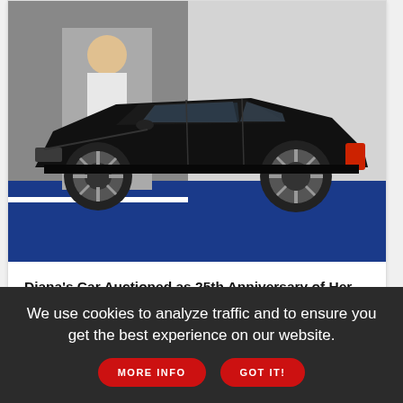[Figure (photo): Black Ford Escort RS Turbo car displayed on blue carpet in an exhibition setting, viewed from the side. A person is visible in the background near a display.]
Diana's Car Auctioned as 25th Anniversary of Her Death Nears
ALSO IN NEWS
We use cookies to analyze traffic and to ensure you get the best experience on our website.
MORE INFO
GOT IT!